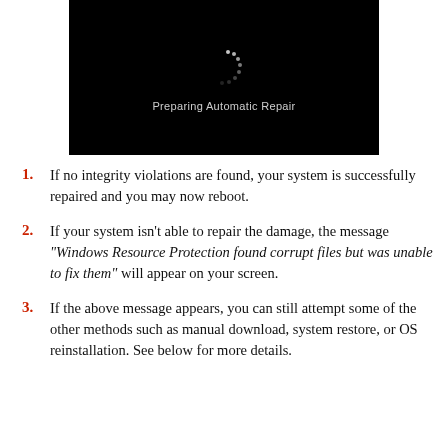[Figure (screenshot): Black Windows screen showing a spinning loading indicator and the text 'Preparing Automatic Repair']
1. If no integrity violations are found, your system is successfully repaired and you may now reboot.
2. If your system isn't able to repair the damage, the message “Windows Resource Protection found corrupt files but was unable to fix them” will appear on your screen.
3. If the above message appears, you can still attempt some of the other methods such as manual download, system restore, or OS reinstallation. See below for more details.